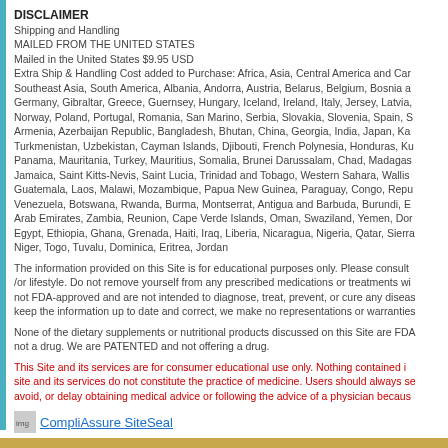DISCLAIMER
Shipping and Handling
MAILED FROM THE UNITED STATES
Mailed in the United States $9.95 USD
Extra Ship & Handling Cost added to Purchase: Africa, Asia, Central America and Car Southeast Asia, South America, Albania, Andorra, Austria, Belarus, Belgium, Bosnia a Germany, Gibraltar, Greece, Guernsey, Hungary, Iceland, Ireland, Italy, Jersey, Latvia, Norway, Poland, Portugal, Romania, San Marino, Serbia, Slovakia, Slovenia, Spain, S Armenia, Azerbaijan Republic, Bangladesh, Bhutan, China, Georgia, India, Japan, Ka Turkmenistan, Uzbekistan, Cayman Islands, Djibouti, French Polynesia, Honduras, Ku Panama, Mauritania, Turkey, Mauritius, Somalia, Brunei Darussalam, Chad, Madagas Jamaica, Saint Kitts-Nevis, Saint Lucia, Trinidad and Tobago, Western Sahara, Wallis Guatemala, Laos, Malawi, Mozambique, Papua New Guinea, Paraguay, Congo, Repu Venezuela, Botswana, Rwanda, Burma, Montserrat, Antigua and Barbuda, Burundi, E Arab Emirates, Zambia, Reunion, Cape Verde Islands, Oman, Swaziland, Yemen, Dor Egypt, Ethiopia, Ghana, Grenada, Haiti, Iraq, Liberia, Nicaragua, Nigeria, Qatar, Sierra Niger, Togo, Tuvalu, Dominica, Eritrea, Jordan
The information provided on this Site is for educational purposes only. Please consult /or lifestyle. Do not remove yourself from any prescribed medications or treatments wi not FDA-approved and are not intended to diagnose, treat, prevent, or cure any diseas keep the information up to date and correct, we make no representations or warranties
None of the dietary supplements or nutritional products discussed on this Site are FDA not a drug. We are PATENTED and not offering a drug.
This Site and its services are for consumer educational use only. Nothing contained i site and its services do not constitute the practice of medicine. Users should always se avoid, or delay obtaining medical advice or following the advice of a physician becaus
[Figure (logo): CompliAssure SiteSeal logo/badge with text link]